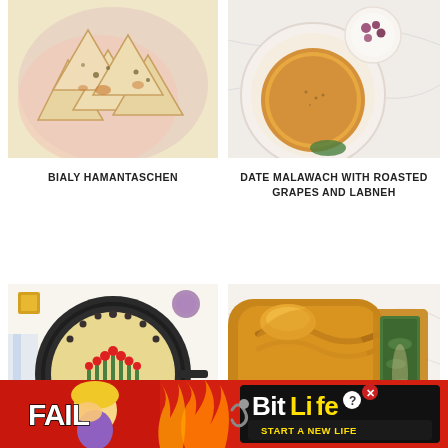[Figure (photo): Overhead photo of bialy hamantaschen pastries on a pink plate with sesame/poppy seed topping]
[Figure (photo): Overhead photo of date malawach with roasted grapes and labneh in white dishes on marble surface]
BIALY HAMANTASCHEN
DATE MALAWACH WITH ROASTED GRAPES AND LABNEH
[Figure (photo): Overhead photo of a cast iron pan decorated as a menorah with asparagus and cherry tomatoes]
[Figure (photo): Close-up photo of a braided spinach stuffed bread loaf, partially sliced]
[Figure (photo): Advertisement banner for BitLife game showing cartoon character with FAIL text and flames]